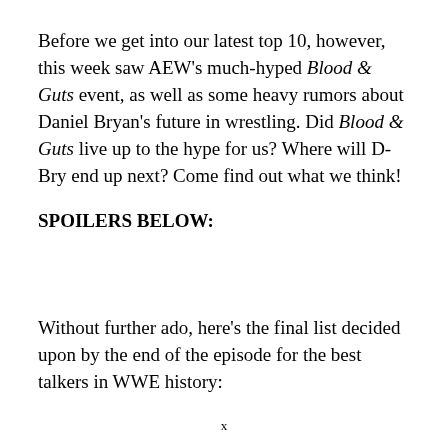Before we get into our latest top 10, however, this week saw AEW's much-hyped Blood & Guts event, as well as some heavy rumors about Daniel Bryan's future in wrestling. Did Blood & Guts live up to the hype for us? Where will D-Bry end up next? Come find out what we think!
SPOILERS BELOW:
Without further ado, here's the final list decided upon by the end of the episode for the best talkers in WWE history: